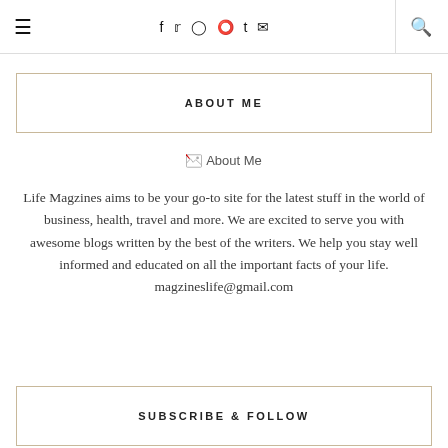≡  f  t  ○  ●  t  ✉  🔍
ABOUT ME
[Figure (photo): Broken image placeholder labeled 'About Me']
Life Magzines aims to be your go-to site for the latest stuff in the world of business, health, travel and more. We are excited to serve you with awesome blogs written by the best of the writers. We help you stay well informed and educated on all the important facts of your life. magzineslife@gmail.com
SUBSCRIBE & FOLLOW